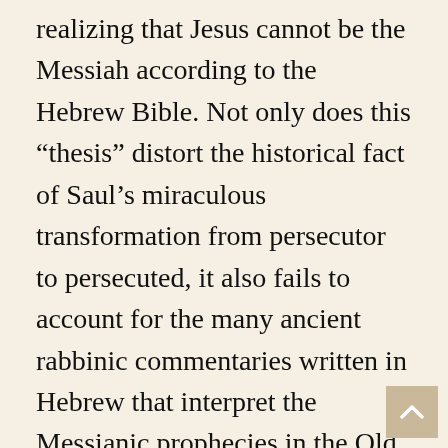realizing that Jesus cannot be the Messiah according to the Hebrew Bible. Not only does this “thesis” distort the historical fact of Saul’s miraculous transformation from persecutor to persecuted, it also fails to account for the many ancient rabbinic commentaries written in Hebrew that interpret the Messianic prophecies in the Old Testament in ways that are incredibly similar to the New Testament. Add to these facts the miraculous rebirth of the church in Israel today, and the growing numbers of native born Israelis who believe in Jesus, not in spite of the Hebrew Bible, but because of it! Truth be told: I wish more Gentile Christians would devote themselves